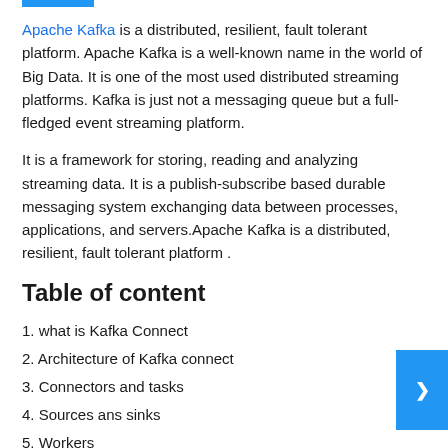Apache Kafka is a distributed, resilient, fault tolerant platform. Apache Kafka is a well-known name in the world of Big Data. It is one of the most used distributed streaming platforms. Kafka is just not a messaging queue but a full-fledged event streaming platform.
It is a framework for storing, reading and analyzing streaming data. It is a publish-subscribe based durable messaging system exchanging data between processes, applications, and servers.Apache Kafka is a distributed, resilient, fault tolerant platform .
Table of content
1. what is Kafka Connect
2. Architecture of Kafka connect
3. Connectors and tasks
4. Sources ans sinks
5. Workers